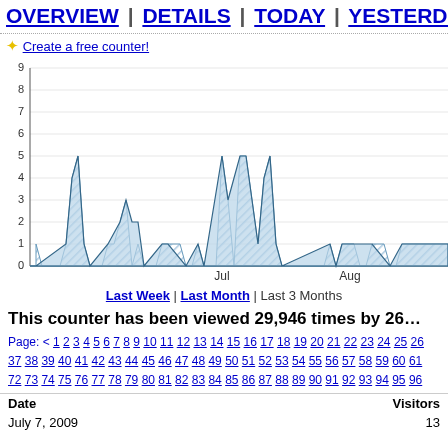OVERVIEW | DETAILS | TODAY | YESTERDAY
✦ Create a free counter!
[Figure (area-chart): Area chart showing daily visitors from approximately June to August 2009, with peaks reaching 5 visitors and mostly 0-2 visitors.]
Last Week | Last Month | Last 3 Months
This counter has been viewed 29,946 times by 26...
Page: < 1 2 3 4 5 6 7 8 9 10 11 12 13 14 15 16 17 18 19 20 21 22 23 24 25 26 37 38 39 40 41 42 43 44 45 46 47 48 49 50 51 52 53 54 55 56 57 58 59 60 61 72 73 74 75 76 77 78 79 80 81 82 83 84 85 86 87 88 89 90 91 92 93 94 95 96
| Date | Visitors |
| --- | --- |
| July 7, 2009 | 13 |